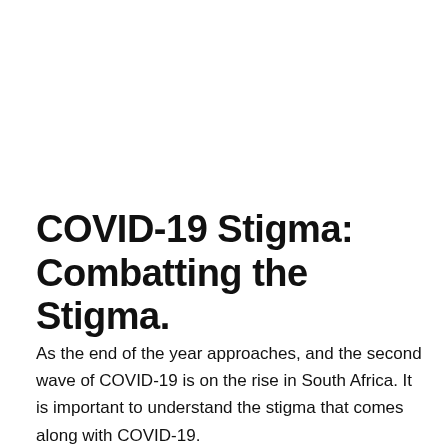COVID-19 Stigma: Combatting the Stigma.
As the end of the year approaches, and the second wave of COVID-19 is on the rise in South Africa. It is important to understand the stigma that comes along with COVID-19.